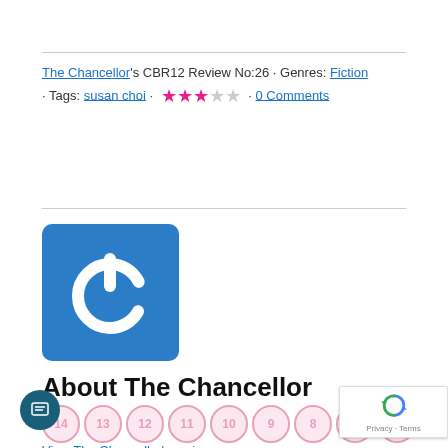The Chancellor's CBR12 Review No:26 · Genres: Fiction · Tags: susan choi · ★★★☆☆ · 0 Comments
[Figure (logo): Blue square with rounded corners containing a white power/on button icon]
About The Chancellor
Numbered badge circles: 14, 13, 12, 11, 10, 9, 8, 7, 6
View The Chancellor's reviews»